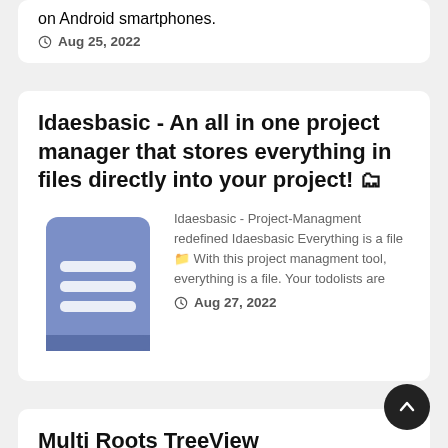on Android smartphones.
Aug 25, 2022
Idaesbasic - An all in one project manager that stores everything in files directly into your project! 🗂
[Figure (illustration): Blue notebook/document icon with horizontal lines representing text]
Idaesbasic - Project-Managment redefined Idaesbasic Everything is a file 📁 With this project managment tool, everything is a file. Your todolists are
Aug 27, 2022
Multi Roots TreeView implementation for Android Platform with a lot of options and customization